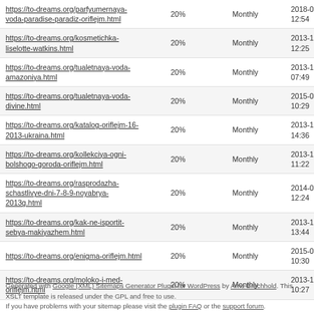| URL | Priority | Change Frequency | Last Changed |
| --- | --- | --- | --- |
| https://to-dreams.org/parfyumernaya-voda-paradise-paradiz-oriflejm.html | 20% | Monthly | 2018-01-31 12:54 |
| https://to-dreams.org/kosmetichka-liselotte-watkins.html | 20% | Monthly | 2013-11-11 12:25 |
| https://to-dreams.org/tualetnaya-voda-amazoniya.html | 20% | Monthly | 2013-11-11 07:49 |
| https://to-dreams.org/tualetnaya-voda-divine.html | 20% | Monthly | 2015-05-24 10:29 |
| https://to-dreams.org/katalog-oriflejm-16-2013-ukraina.html | 20% | Monthly | 2013-11-17 14:36 |
| https://to-dreams.org/kollekciya-ogni-bolshogo-goroda-oriflejm.html | 20% | Monthly | 2013-11-08 11:22 |
| https://to-dreams.org/rasprodazha-schastlivye-dni-7-8-9-noyabrya-2013g.html | 20% | Monthly | 2014-03-20 12:24 |
| https://to-dreams.org/kak-ne-isportit-sebya-makiyazhem.html | 20% | Monthly | 2013-11-05 13:44 |
| https://to-dreams.org/enigma-oriflejm.html | 20% | Monthly | 2015-05-24 10:30 |
| https://to-dreams.org/moloko-i-med-oriflejm.html | 20% | Monthly | 2013-11-03 10:27 |
Generated with Google (XML) Sitemaps Generator Plugin for WordPress by Arne Brachhold. This XSLT template is released under the GPL and free to use. If you have problems with your sitemap please visit the plugin FAQ or the support forum.